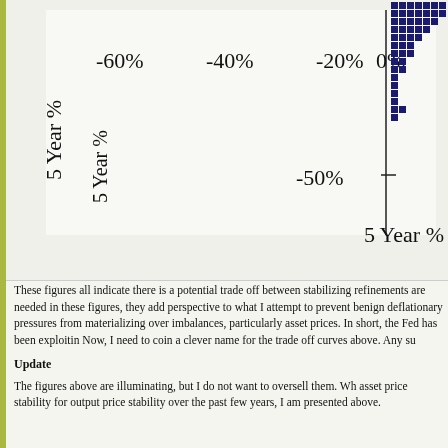[Figure (scatter-plot): Scatter plot (partial view) showing data points in dark blue clustered in upper right. X-axis shows 5 Year % values from -60% to 0%, Y-axis shows values around -50% to -100%. Axis labels visible: -60%, -40%, -20%, 0% on x-axis; -50%, -100% on y-axis.]
These figures all indicate there is a potential trade off between stabilizing refinements are needed in these figures, they add perspective to what I attempt to prevent benign deflationary pressures from materializing over imbalances, particularly asset prices. In short, the Fed has been exploitin Now, I need to coin a clever name for the trade off curves above. Any su
Update
The figures above are illuminating, but I do not want to oversell them. Wh asset price stability for output price stability over the past few years, I am presented above.